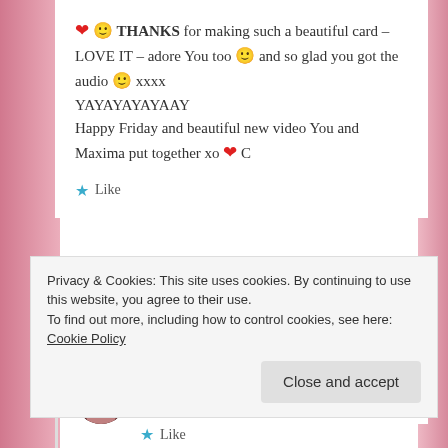❤ 🙂 THANKS for making such a beautiful card – LOVE IT – adore You too 🙂 and so glad you got the audio 🙂 xxxx
YAYAYAYAYAAY
Happy Friday and beautiful new video You and Maxima put together xo ❤ C
Like
CHRISTY BIRMINGHAM
November 9, 2013 at 3:31 pm
Privacy & Cookies: This site uses cookies. By continuing to use this website, you agree to their use.
To find out more, including how to control cookies, see here: Cookie Policy
Close and accept
Like